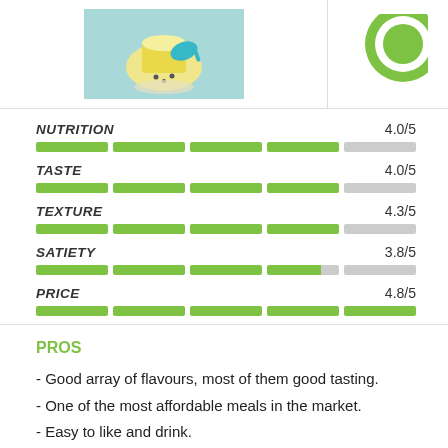[Figure (illustration): Product image of a meal replacement powder with scoop on teal/blue background]
[Figure (logo): Green circular logo/badge partially visible]
NUTRITION 4.0/5
TASTE 4.0/5
TEXTURE 4.3/5
SATIETY 3.8/5
PRICE 4.8/5
PROS
Good array of flavours, most of them good tasting.
One of the most affordable meals in the market.
Easy to like and drink.
Vegan.
Great free shaker.